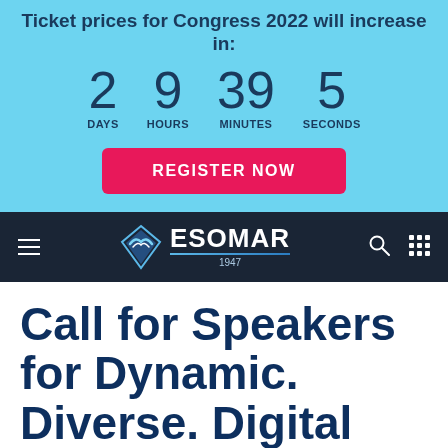Ticket prices for Congress 2022 will increase in:
2 DAYS  9 HOURS  39 MINUTES  5 SECONDS
REGISTER NOW
[Figure (logo): ESOMAR logo with diamond shield icon, organization name and year 1947]
Call for Speakers for Dynamic. Diverse. Digital